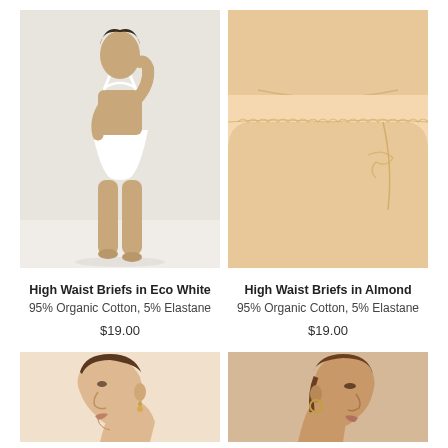[Figure (photo): Woman wearing white high waist briefs and white bralette, full body shot against light grey/white background]
[Figure (photo): Close-up of woman wearing almond/nude high waist briefs with lace detail and matching bra, beige background]
High Waist Briefs in Eco White
95% Organic Cotton, 5% Elastane
$19.00
High Waist Briefs in Almond
95% Organic Cotton, 5% Elastane
$19.00
[Figure (photo): Close-up profile of woman's face and ear wearing small drop earrings, light skin tone]
[Figure (photo): Close-up profile of woman's face and ear wearing small hoop earrings, medium skin tone, brown hair]